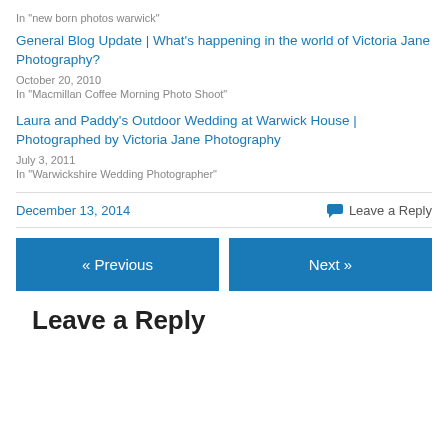In "new born photos warwick"
General Blog Update | What's happening in the world of Victoria Jane Photography?
October 20, 2010
In "Macmillan Coffee Morning Photo Shoot"
Laura and Paddy's Outdoor Wedding at Warwick House | Photographed by Victoria Jane Photography
July 3, 2011
In "Warwickshire Wedding Photographer"
December 13, 2014
Leave a Reply
« Previous
Next »
Leave a Reply